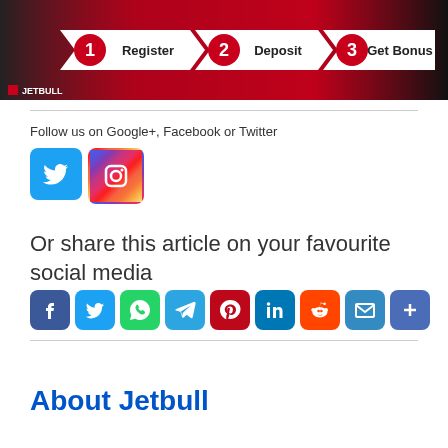[Figure (infographic): Jetbull sports betting banner showing three steps: 1 Register, 2 Deposit, 3 Get Bonus on a dark red background with basketball/sports imagery]
Follow us on Google+, Facebook or Twitter
[Figure (infographic): Twitter and Instagram social media follow icons]
Or share this article on your favourite social media
[Figure (infographic): Social share buttons: Facebook, Twitter, WhatsApp, Telegram, Pinterest, LinkedIn, Reddit, Email, More]
About Jetbull